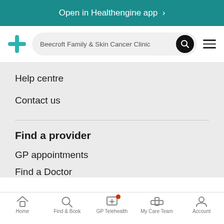Open in Healthengine app >
[Figure (logo): Healthengine cross/plus logo in teal, search bar with text 'Beecroft Family & Skin Cancer Clinic', black search button, hamburger menu icon]
Help centre
Contact us
Find a provider
GP appointments
Find a Doctor
Home   Find & Book   GP Telehealth   My Care Team   Account